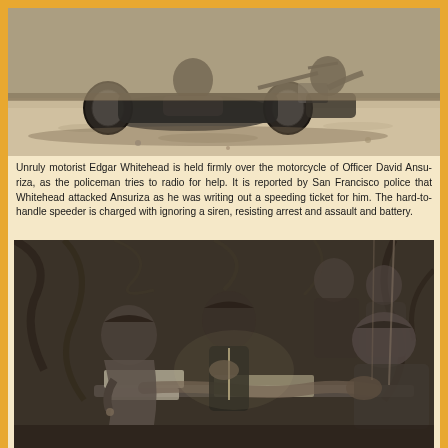[Figure (photo): Black and white photograph of a motorcycle lying on the ground with a motorist (Edgar Whitehead) held over it and Officer David Ansuriza trying to radio for help.]
Unruly motorist Edgar Whitehead is held firmly over the motorcycle of Officer David Ansuriza, as the policeman tries to radio for help. It is reported by San Francisco police that Whitehead attacked Ansuriza as he was writing out a speeding ticket for him. The hard-to-handle speeder is charged with ignoring a siren, resisting arrest and assault and battery.
[Figure (photo): Black and white photograph of several men gathered outdoors at night or in a dark setting, appearing to examine something on a surface, with branches visible in the background.]